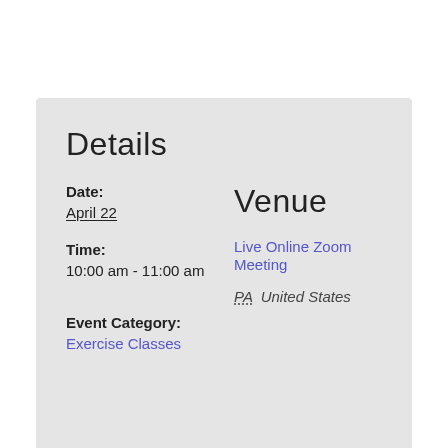Details
Date:
April 22
Venue
Live Online Zoom Meeting
Time:
10:00 am - 11:00 am
PA  United States
Event Category:
Exercise Classes